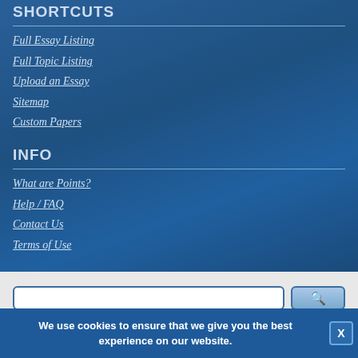SHORTCUTS
Full Essay Listing
Full Topic Listing
Upload an Essay
Sitemap
Custom Papers
INFO
What are Points?
Help / FAQ
Contact Us
Terms of Use
We use cookies to ensure that we give you the best experience on our website.